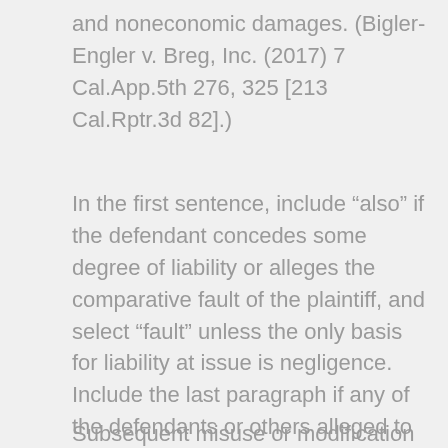and noneconomic damages. (Bigler-Engler v. Breg, Inc. (2017) 7 Cal.App.5th 276, 325 [213 Cal.Rptr.3d 82].)
In the first sentence, include “also” if the defendant concedes some degree of liability or alleges the comparative fault of the plaintiff, and select “fault” unless the only basis for liability at issue is negligence. Include the last paragraph if any of the defendants or others alleged to have contributed to the plaintiff’s harm are not individuals.
Subsequent misuse or modification may